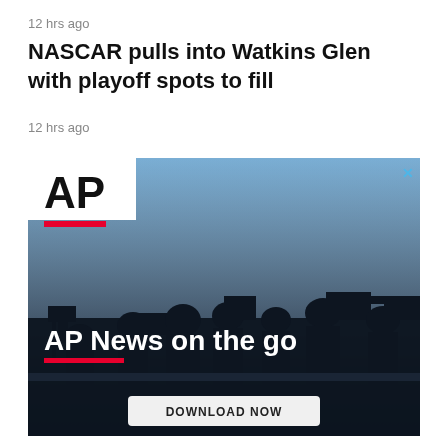12 hrs ago
NASCAR pulls into Watkins Glen with playoff spots to fill
12 hrs ago
[Figure (photo): AP News advertisement banner showing silhouettes of camera operators and journalists against a blue sky, with AP logo in white panel, text 'AP News on the go' with red underline, and a 'DOWNLOAD NOW' button at the bottom.]